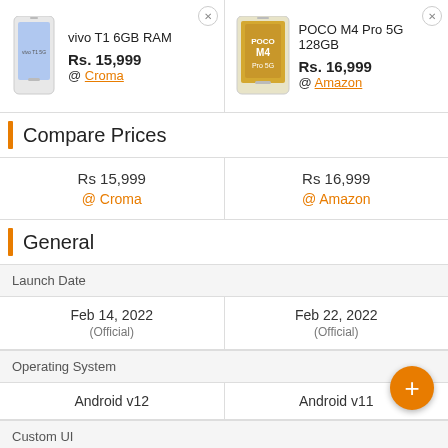[Figure (photo): vivo T1 6GB RAM smartphone product image]
vivo T1 6GB RAM
Rs. 15,999
@ Croma
[Figure (photo): POCO M4 Pro 5G 128GB smartphone product image]
POCO M4 Pro 5G 128GB
Rs. 16,999
@ Amazon
Compare Prices
| vivo T1 6GB RAM | POCO M4 Pro 5G 128GB |
| --- | --- |
| Rs 15,999
@ Croma | Rs 16,999
@ Amazon |
General
| Launch Date |  |  |
| --- | --- | --- |
| Feb 14, 2022
(Official) | Feb 22, 2022
(Official) |
| Operating System |  |
| Android v12 | Android v11 |
| Custom UI |  |